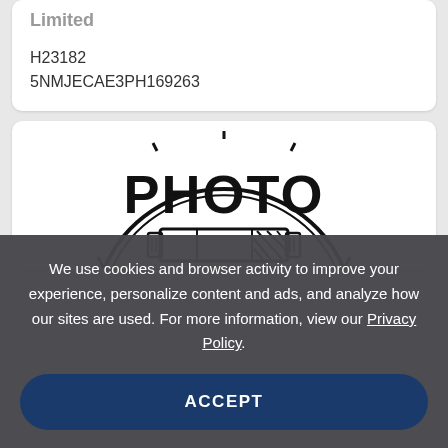Limited
H23182
5NMJECAE3PH169263
[Figure (photo): Photo placeholder icon with camera/film imagery and the word PHOTO in large bold text inside a circular stamp-like border]
We use cookies and browser activity to improve your experience, personalize content and ads, and analyze how our sites are used. For more information, view our Privacy Policy.
ACCEPT